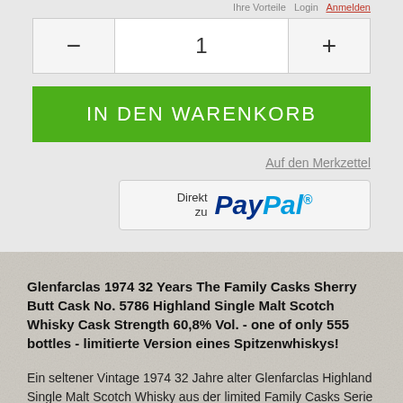Ihre Vorteile Login Anmelden
1
IN DEN WARENKORB
Auf den Merkzettel
[Figure (screenshot): PayPal checkout button with 'Direkt zu' text and PayPal logo]
Glenfarclas 1974 32 Years The Family Casks Sherry Butt Cask No. 5786 Highland Single Malt Scotch Whisky Cask Strength 60,8% Vol. - one of only 555 bottles - limitierte Version eines Spitzenwhiskys!
Ein seltener Vintage 1974 32 Jahre alter Glenfarclas Highland Single Malt Scotch Whisky aus der limited Family Casks Serie und spezielle Abfüllung von einem ausgesuchten Sherry Butt aus dem Jahr 2007. Hierfür wurden bei Glenfarclas ein ausgewähltes Sherry Butt mit Bottlingdatum vom 5786 am 5. April 1974 gefüllt, limitierte Abfüllung.